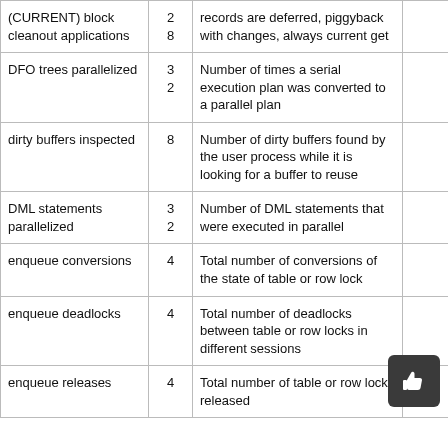| Statistic Name | Class | Description |  |
| --- | --- | --- | --- |
| (CURRENT) block cleanout applications | 2
8 | records are deferred, piggyback with changes, always current get |  |
| DFO trees parallelized | 3
2 | Number of times a serial execution plan was converted to a parallel plan |  |
| dirty buffers inspected | 8 | Number of dirty buffers found by the user process while it is looking for a buffer to reuse |  |
| DML statements parallelized | 3
2 | Number of DML statements that were executed in parallel |  |
| enqueue conversions | 4 | Total number of conversions of the state of table or row lock |  |
| enqueue deadlocks | 4 | Total number of deadlocks between table or row locks in different sessions |  |
| enqueue releases | 4 | Total number of table or row locks released |  |